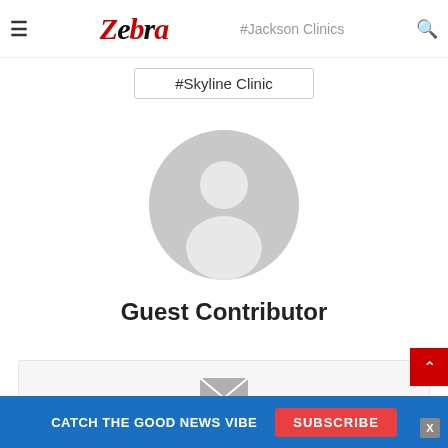≡  Zebra  #Jackson Clinics  🔍
#Skyline Clinic
[Figure (illustration): Generic user avatar placeholder — grey circle with white silhouette of a person]
Guest Contributor
[Figure (illustration): Grey envelope / email icon inside a light grey box]
CATCH THE GOOD NEWS VIBE  SUBSCRIBE  X